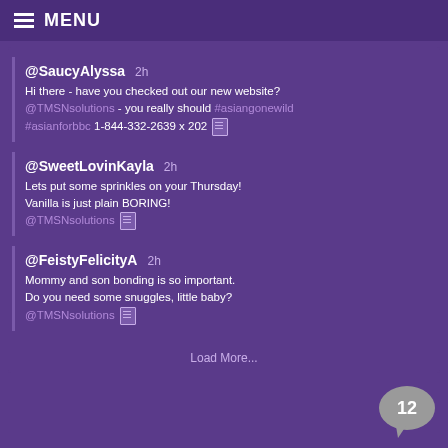MENU
@SaucyAlyssa  2h
Hi there - have you checked out our new website?
@TMSNsolutions - you really should #asiangonewild
#asianforbbc 1-844-332-2639 x 202
@SweetLovinKayla  2h
Lets put some sprinkles on your Thursday!
Vanilla is just plain BORING!
@TMSNsolutions
@FeistyFelicityA  2h
Mommy and son bonding is so important.
Do you need some snuggles, little baby?
@TMSNsolutions
Load More...